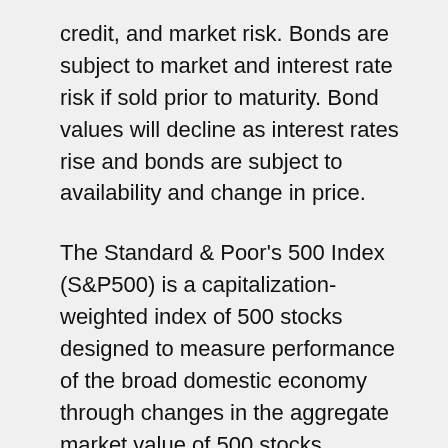credit, and market risk. Bonds are subject to market and interest rate risk if sold prior to maturity. Bond values will decline as interest rates rise and bonds are subject to availability and change in price.
The Standard & Poor's 500 Index (S&P500) is a capitalization-weighted index of 500 stocks designed to measure performance of the broad domestic economy through changes in the aggregate market value of 500 stocks representing all major industries.
The PE ratio (price-to-earnings ratio) is a